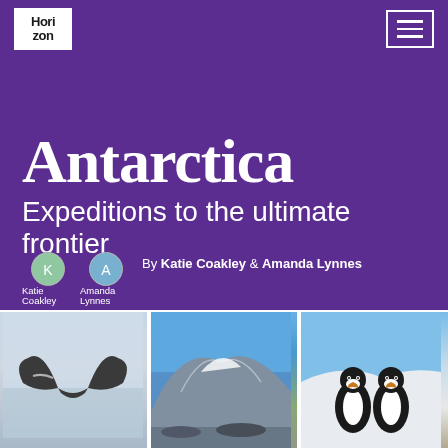Horizon | menu
Antarctica
Expeditions to the ultimate frontier
By Katie Coakley & Amanda Lynnes
[Figure (photo): Three Antarctica photos side by side: whale tail, icy mountain landscape, two penguins on ice]